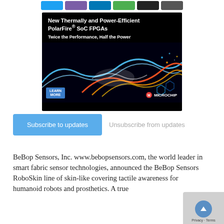[Figure (other): Row of social share buttons at top: blue (Twitter), purple (Facebook), teal (LinkedIn), green, black, dark gray]
[Figure (illustration): Microchip advertisement: black background with colorful flame and ice wave graphics. Text reads 'New Thermally and Power-Efficient PolarFire® SoC FPGAs — Twice the Performance, Half the Power'. LEARN MORE button bottom left. Microchip logo bottom right.]
Subscribe to updates
Unsubscribe from updates
BeBop Sensors, Inc. www.bebopsensors.com, the world leader in smart fabric sensor technologies, announced the BeBop Sensors RoboSkin line of skin-like covering tactile awareness for humanoid robots and prosthetics. A true